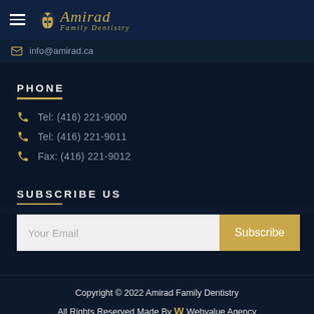Amirad Family Dentistry
info@amirad.ca
PHONE
Tel: (416) 221-9000
Tel: (416) 221-9011
Fax: (416) 221-9012
SUBSCRIBE US
Your Email | Subscribe
Copyright © 2022 Amirad Family Dentistry
All Rights Reserved Made By W Webvalue Agency